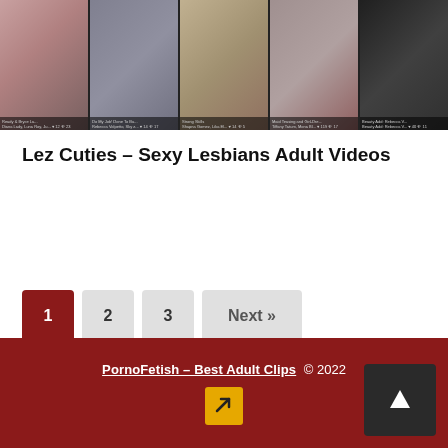[Figure (photo): Strip of 5 adult video thumbnail images at the top of the page]
Lez Cuties – Sexy Lesbians Adult Videos
Read more ▶
1
2
3
Next »
PornoFetish – Best Adult Clips © 2022